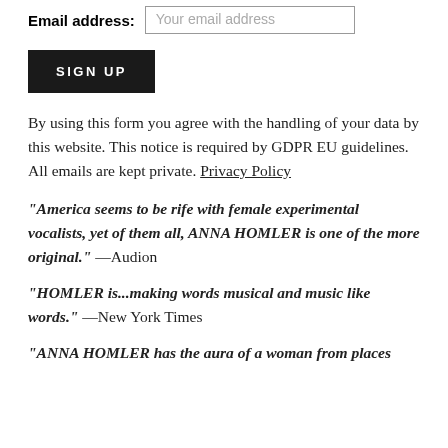Email address: Your email address
SIGN UP
By using this form you agree with the handling of your data by this website. This notice is required by GDPR EU guidelines. All emails are kept private. Privacy Policy
"America seems to be rife with female experimental vocalists, yet of them all, ANNA HOMLER is one of the more original." —Audion
"HOMLER is...making words musical and music like words." —New York Times
"ANNA HOMLER has the aura of a woman from places